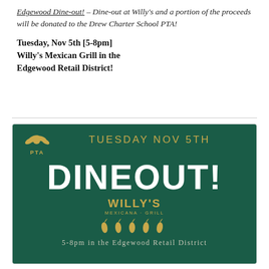Edgewood Dine-out! – Dine-out at Willy's and a portion of the proceeds will be donated to the Drew Charter School PTA!
Tuesday, Nov 5th [5-8pm]
Willy's Mexican Grill in the Edgewood Retail District!
[Figure (infographic): Dark green promotional banner for Willy's Mexicana Grill Dine-out event. Features PTA logo top-left, 'TUESDAY NOV 5TH' in gold, 'DINEOUT!' in large white bold letters, Willy's Mexicana Grill logo in gold with pepper icons, and '5-8pm in the Edgewood Retail District' in light text at the bottom.]